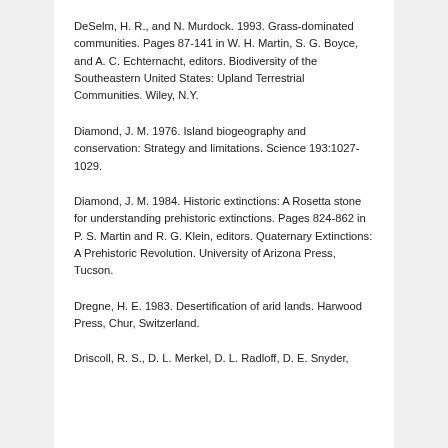DeSelm, H. R., and N. Murdock. 1993. Grass-dominated communities. Pages 87-141 in W. H. Martin, S. G. Boyce, and A. C. Echternacht, editors. Biodiversity of the Southeastern United States: Upland Terrestrial Communities. Wiley, N.Y.
Diamond, J. M. 1976. Island biogeography and conservation: Strategy and limitations. Science 193:1027-1029.
Diamond, J. M. 1984. Historic extinctions: A Rosetta stone for understanding prehistoric extinctions. Pages 824-862 in P. S. Martin and R. G. Klein, editors. Quaternary Extinctions: A Prehistoric Revolution. University of Arizona Press, Tucson.
Dregne, H. E. 1983. Desertification of arid lands. Harwood Press, Chur, Switzerland.
Driscoll, R. S., D. L. Merkel, D. L. Radloff, D. E. Snyder,